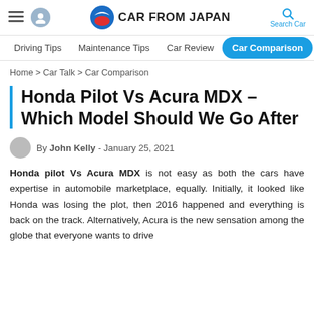CAR FROM JAPAN
Driving Tips | Maintenance Tips | Car Review | Car Comparison
Home > Car Talk > Car Comparison
Honda Pilot Vs Acura MDX – Which Model Should We Go After
By John Kelly - January 25, 2021
Honda pilot Vs Acura MDX is not easy as both the cars have expertise in automobile marketplace, equally. Initially, it looked like Honda was losing the plot, then 2016 happened and everything is back on the track. Alternatively, Acura is the new sensation among the globe that everyone wants to drive